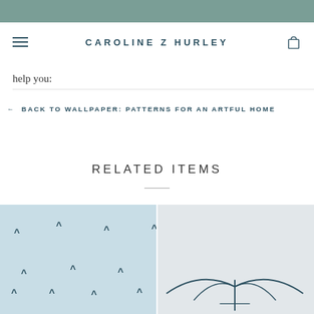CAROLINE Z HURLEY
help you:
← BACK TO WALLPAPER: PATTERNS FOR AN ARTFUL HOME
RELATED ITEMS
[Figure (photo): Light blue textured wallpaper with small dark chevron/caret marks arranged in a pattern]
[Figure (photo): Light grey/white background with a sculptural object featuring wing-like curves and a vertical line element]